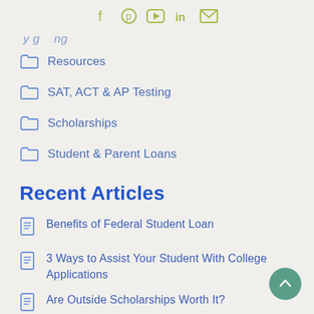Social media icons: Facebook, Pinterest, YouTube, LinkedIn, Email
...y g...ing...
Resources
SAT, ACT & AP Testing
Scholarships
Student & Parent Loans
Recent Articles
Benefits of Federal Student Loan
3 Ways to Assist Your Student With College Applications
Are Outside Scholarships Worth It?